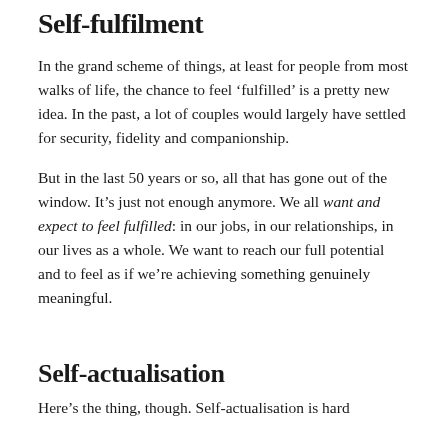Self-fulfilment
In the grand scheme of things, at least for people from most walks of life, the chance to feel ‘fulfilled’ is a pretty new idea. In the past, a lot of couples would largely have settled for security, fidelity and companionship.
But in the last 50 years or so, all that has gone out of the window. It’s just not enough anymore. We all want and expect to feel fulfilled: in our jobs, in our relationships, in our lives as a whole. We want to reach our full potential and to feel as if we’re achieving something genuinely meaningful.
Self-actualisation
Here’s the thing, though. Self-actualisation is hard